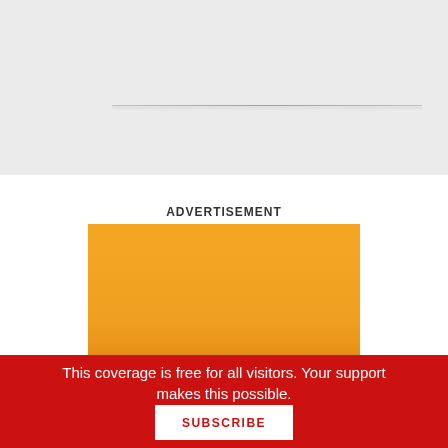ADVERTISEMENT
[Figure (illustration): Advertisement banner with orange gradient background showing bold text 'FALL GRAPHIC NOVELS FOR ALL LEVELS']
This coverage is free for all visitors. Your support makes this possible.
SUBSCRIBE